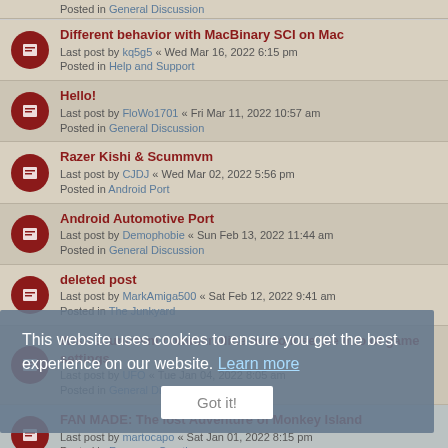Posted in General Discussion
Different behavior with MacBinary SCI on Mac
Last post by kq5g5 « Wed Mar 16, 2022 6:15 pm
Posted in Help and Support
Hello!
Last post by FloWo1701 « Fri Mar 11, 2022 10:57 am
Posted in General Discussion
Razer Kishi & Scummvm
Last post by CJDJ « Wed Mar 02, 2022 5:56 pm
Posted in Android Port
Android Automotive Port
Last post by Demophobie « Sun Feb 13, 2022 11:44 am
Posted in General Discussion
deleted post
Last post by MarkAmiga500 « Sat Feb 12, 2022 9:41 am
Posted in The Junkyard
Wish scummvm commandline not to lose the info of game settings
Last post by UFO « Tue Jan 04, 2022 8:05 am
Posted in General Discussion
FAN MADE: The lost Adventure of Monkey Island
Last post by martocapo « Sat Jan 01, 2022 8:15 pm
Posted in Fangame Creation
How does the EGA640.DRV even work?
Last post by Good_Punk « Tue Dec 21, 2021 1:13 pm
Posted in General Discussion
This website uses cookies to ensure you get the best experience on our website. Learn more
Got it!